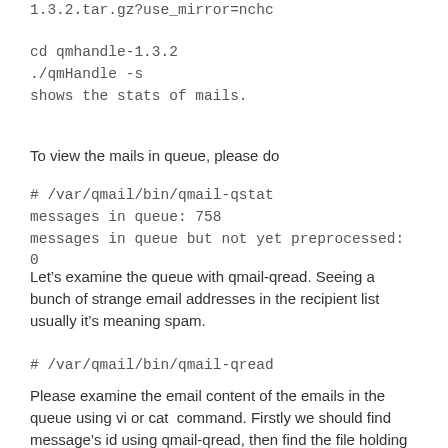1.3.2.tar.gz?use_mirror=nchc
cd qmhandle-1.3.2
./qmHandle -s
shows the stats of mails.
To view the mails in queue, please do
# /var/qmail/bin/qmail-qstat
messages in queue: 758
messages in queue but not yet preprocessed: 0
Let’s examine the queue with qmail-qread. Seeing a bunch of strange email addresses in the recipient list usually it’s meaning spam.
# /var/qmail/bin/qmail-qread
Please examine the email content of the emails in the queue using vi or cat  command. Firstly we should find message’s id using qmail-qread, then find the file holding